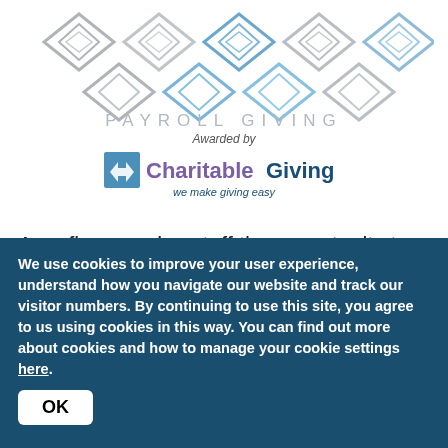[Figure (logo): Payroll Giving diamond pattern logo with grey and blue diamond shapes arranged in two rows, with text PAYROLL GIVING below]
Awarded by
[Figure (logo): CharitableGiving logo with purple and blue arrow icon, text reads CharitableGiving in purple and blue, subtitle: we make giving easy]
As a firm we give staff the opportunity to “dress down” on a Friday for a donation to their local charity. All staff are given the
We use cookies to improve your user experience, understand how you navigate our website and track our visitor numbers. By continuing to use this site, you agree to us using cookies in this way. You can find out more about cookies and how to manage your cookie settings here.
OK